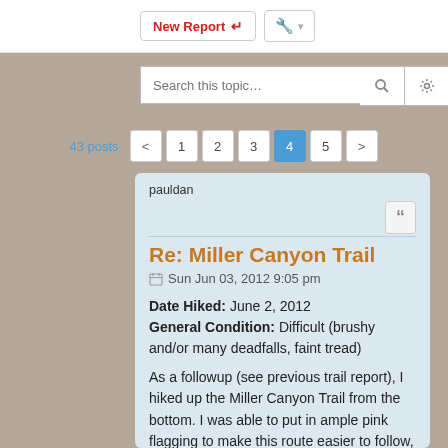[Figure (screenshot): Top navigation bar with 'New Report' button (red text, arrow icon) and a tool/settings button]
[Figure (screenshot): Search bar with 'Search this topic...' placeholder, search icon button, and settings gear icon button]
43 posts
[Figure (screenshot): Pagination bar with buttons: < 1 2 3 [4 active] 5 >]
pauldan
Re: Miller Canyon Trail
Sun Jun 03, 2012 9:05 pm
Date Hiked: June 2, 2012
General Condition: Difficult (brushy and/or many deadfalls, faint tread)
As a followup (see previous trail report), I hiked up the Miller Canyon Trail from the bottom. I was able to put in ample pink flagging to make this route easier to follow, especially for the uphill hiker. I got as far as approx. 0.3 mile from Miller Canyon Camp. What I found on this hike was the